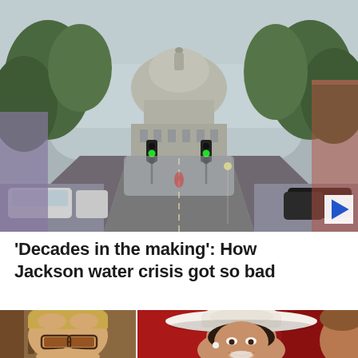[Figure (photo): Street view looking toward the Mississippi State Capitol building dome, with green traffic lights, cars parked on both sides, trees lining the road, and foggy/rainy atmospheric conditions. A play button overlay is visible in the lower right corner.]
'Decades in the making': How Jackson water crisis got so bad
[Figure (photo): Two side-by-side photos at the bottom: left shows a man with glasses and blonde hair; right shows a woman in a white wide-brim hat smiling, with a partially visible third person.]